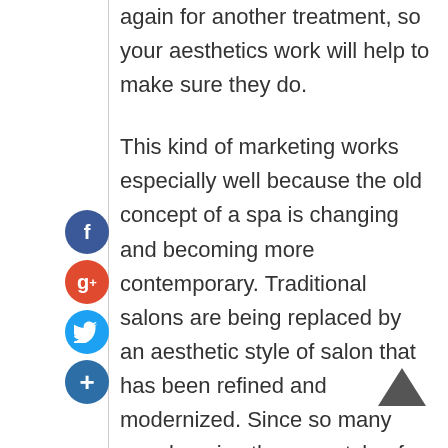again for another treatment, so your aesthetics work will help to make sure they do.
This kind of marketing works especially well because the old concept of a spa is changing and becoming more contemporary. Traditional salons are being replaced by an aesthetic style of salon that has been refined and modernized. Since so many people enjoy the new style of salon, you can expect to get a better return on your investment in aesthetics.
The cost of this type of marketing is less than many other kinds of marketing because